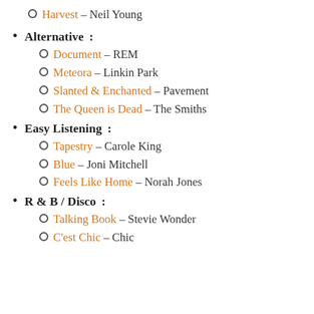Harvest – Neil Young
Alternative:
Document – REM
Meteora – Linkin Park
Slanted & Enchanted – Pavement
The Queen is Dead – The Smiths
Easy Listening:
Tapestry – Carole King
Blue – Joni Mitchell
Feels Like Home – Norah Jones
R & B / Disco:
Talking Book – Stevie Wonder
C'est Chic – Chic